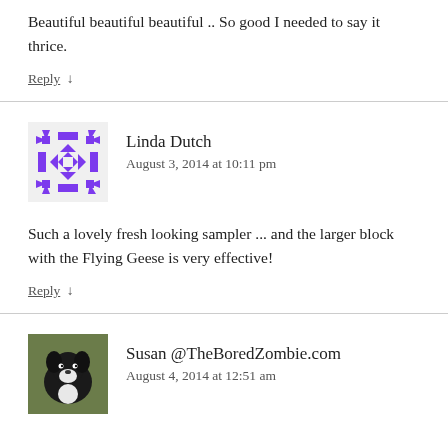Beautiful beautiful beautiful .. So good I needed to say it thrice.
Reply ↓
Linda Dutch
August 3, 2014 at 10:11 pm
Such a lovely fresh looking sampler ... and the larger block with the Flying Geese is very effective!
Reply ↓
Susan @TheBoredZombie.com
August 4, 2014 at 12:51 am